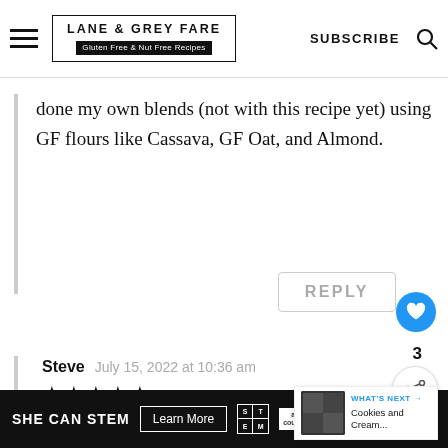LANE & GREY FARE | Gluten Free & Nut Free Recipes | SUBSCRIBE
done my own blends (not with this recipe yet) using GF flours like Cassava, GF Oat, and Almond.
REPLY
3
Steve  July 15, 2022 at 10:36 am
★★★★★
These muffins look great, are easy to
WHAT'S NEXT → Cookies and Cream...
SHE CAN STEM  Learn More